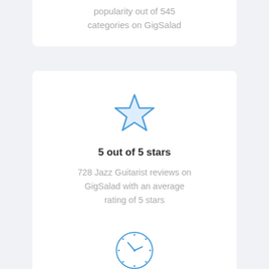popularity out of 545 categories on GigSalad
[Figure (illustration): Star icon outline in blue with light blue fill]
5 out of 5 stars
728 Jazz Guitarist reviews on GigSalad with an average rating of 5 stars
[Figure (illustration): Clock icon in blue circle outline]